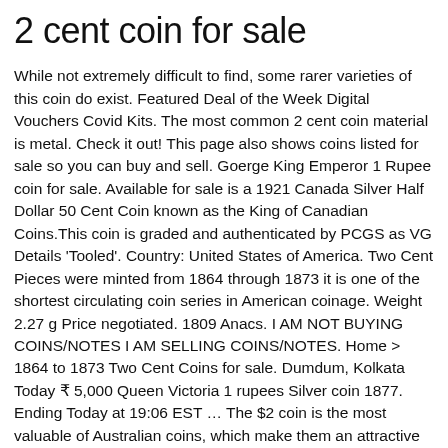2 cent coin for sale
While not extremely difficult to find, some rarer varieties of this coin do exist. Featured Deal of the Week Digital Vouchers Covid Kits. The most common 2 cent coin material is metal. Check it out! This page also shows coins listed for sale so you can buy and sell. Goerge King Emperor 1 Rupee coin for sale. Available for sale is a 1921 Canada Silver Half Dollar 50 Cent Coin known as the King of Canadian Coins.This coin is graded and authenticated by PCGS as VG Details 'Tooled'. Country: United States of America. Two Cent Pieces were minted from 1864 through 1873 it is one of the shortest circulating coin series in American coinage. Weight 2.27 g Price negotiated. 1809 Anacs. I AM NOT BUYING COINS/NOTES I AM SELLING COINS/NOTES. Home > 1864 to 1873 Two Cent Coins for sale. Dumdum, Kolkata Today ₹ 5,000 Queen Victoria 1 rupees Silver coin 1877. Ending Today at 19:06 EST … The $2 coin is the most valuable of Australian coins, which make them an attractive addition to many coin collections. We carry large cents, pennies, nickels, dimes, quarters, half and silver dollars, mint and proof sets, gold and much more. A scarce date and attractive with problem-free surfaces. Two Cent Coin Value – What Dealers Pay. Find your coin in the full list of USA 1/2 Cent (Half